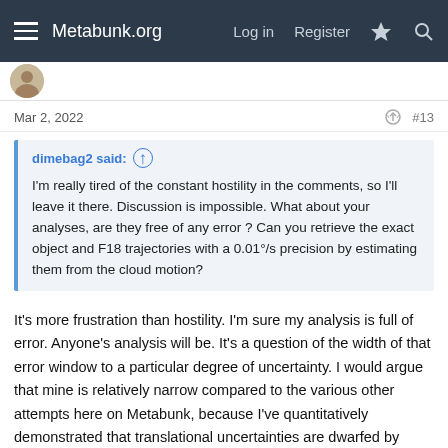Metabunk.org   Log in   Register
Mar 2, 2022   #13
dimebag2 said: I'm really tired of the constant hostility in the comments, so I'll leave it there. Discussion is impossible. What about your analyses, are they free of any error ? Can you retrieve the exact object and F18 trajectories with a 0.01°/s precision by estimating them from the cloud motion?
It's more frustration than hostility. I'm sure my analysis is full of error. Anyone's analysis will be. It's a question of the width of that error window to a particular degree of uncertainty. I would argue that mine is relatively narrow compared to the various other attempts here on Metabunk, because I've quantitatively demonstrated that translational uncertainties are dwarfed by angular uncertainties in this case. Everyone else has derived an F-18 flight path from the bank angle, which frankly is craziness because of the distances involved (even within 10 NM). The